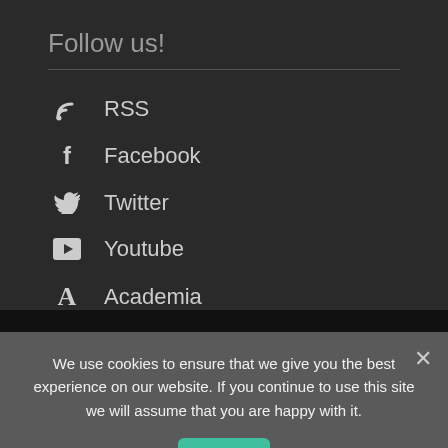Follow us!
RSS
Facebook
Twitter
Youtube
Academia
Zotero
We use cookies to ensure that we give you the best experience on our website. If you continue to use this site we will assume that you are happy with it.